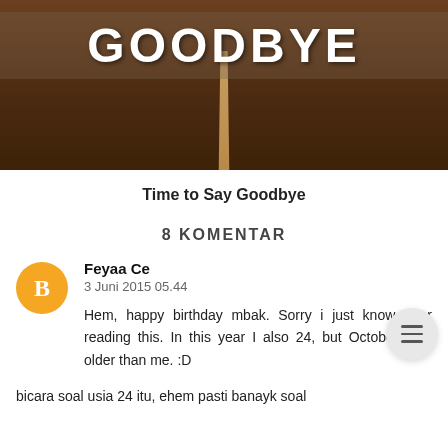[Figure (photo): A road/asphalt photo with the word GOODBYE written in large white bold text at the top, with a yellow center line visible on the road below.]
Time to Say Goodbye
8 KOMENTAR
Feyaa Ce
3 Juni 2015 05.44

Hem, happy birthday mbak. Sorry i just know after reading this. In this year I also 24, but October. You older than me. :D

bicara soal usia 24 itu, ehem pasti banayk soal